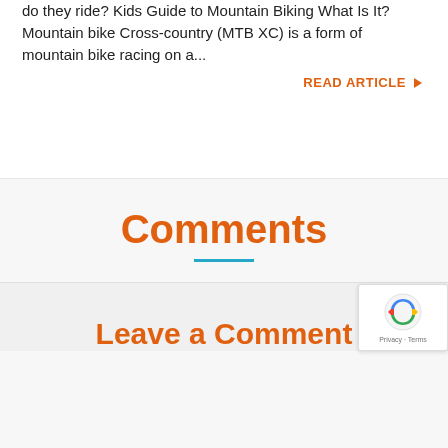do they ride? Kids Guide to Mountain Biking What Is It? Mountain bike Cross-country (MTB XC) is a form of mountain bike racing on a...
READ ARTICLE ▶
Comments
Leave a Comment